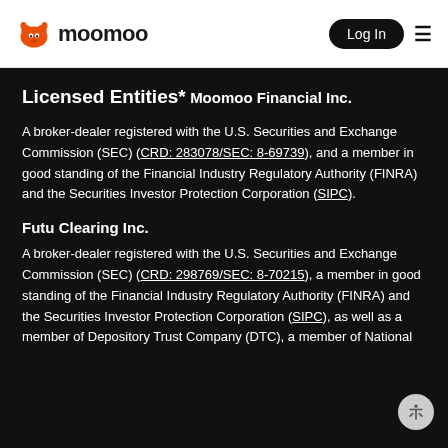moomoo | Log In
Licensed Entities*
Moomoo Financial Inc.
A broker-dealer registered with the U.S. Securities and Exchange Commission (SEC) (CRD: 283078/SEC: 8-69739), and a member in good standing of the Financial Industry Regulatory Authority (FINRA) and the Securities Investor Protection Corporation (SIPC).
Futu Clearing Inc.
A broker-dealer registered with the U.S. Securities and Exchange Commission (SEC) (CRD: 298769/SEC: 8-70215), a member in good standing of the Financial Industry Regulatory Authority (FINRA) and the Securities Investor Protection Corporation (SIPC), as well as a member of Depository Trust Company (DTC), a member of National